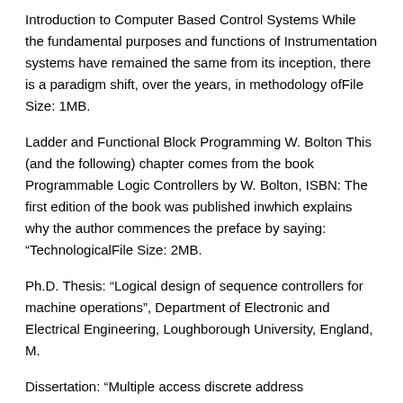Introduction to Computer Based Control Systems While the fundamental purposes and functions of Instrumentation systems have remained the same from its inception, there is a paradigm shift, over the years, in methodology ofFile Size: 1MB.
Ladder and Functional Block Programming W. Bolton This (and the following) chapter comes from the book Programmable Logic Controllers by W. Bolton, ISBN: The first edition of the book was published inwhich explains why the author commences the preface by saying: “TechnologicalFile Size: 2MB.
Ph.D. Thesis: “Logical design of sequence controllers for machine operations”, Department of Electronic and Electrical Engineering, Loughborough University, England, M.
Dissertation: “Multiple access discrete address communication system for local subscribers’ network”, Department of Electronic and Electrical Engineering. Write it down. Then break down the step sequence into manageable size cycles, often two or more per machine or station, and type up a software functional document detailing what triggers a